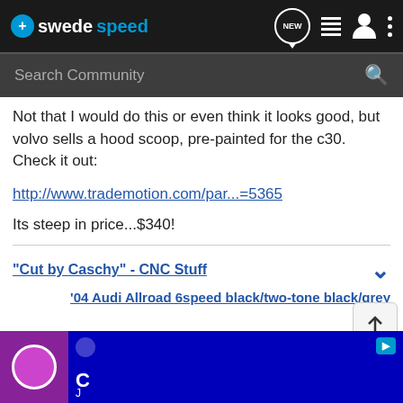swedespeed
Not that I would do this or even think it looks good, but volvo sells a hood scoop, pre-painted for the c30. Check it out:
http://www.trademotion.com/par...=5365
Its steep in price...$340!
"Cut by Caschy" - CNC Stuff
'04 Audi Allroad 6speed black/two-tone black/grey
[Figure (screenshot): Bottom advertisement area with blue background showing a video thumbnail and user avatar]